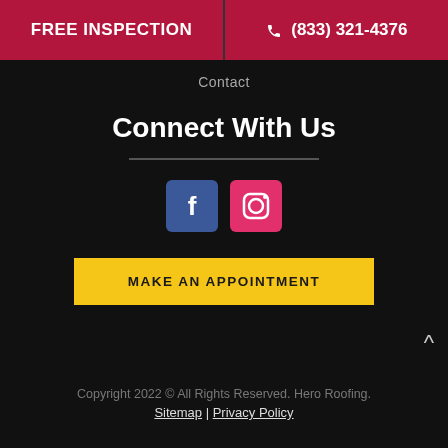FREE INSPECTION
(833) 321-4376
Contact
Connect With Us
[Figure (other): Facebook and Instagram social media icon buttons]
MAKE AN APPOINTMENT
Copyright 2022 © All Rights Reserved. Hero Roofing. Sitemap | Privacy Policy